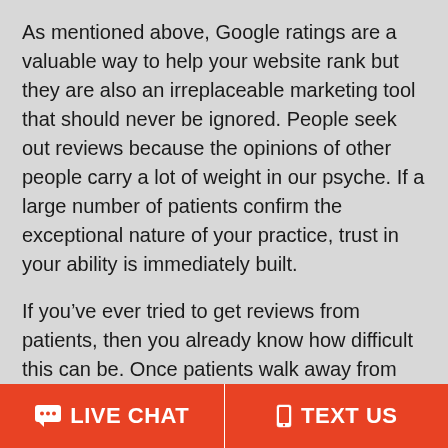As mentioned above, Google ratings are a valuable way to help your website rank but they are also an irreplaceable marketing tool that should never be ignored. People seek out reviews because the opinions of other people carry a lot of weight in our psyche. If a large number of patients confirm the exceptional nature of your practice, trust in your ability is immediately built.
If you’ve ever tried to get reviews from patients, then you already know how difficult this can be. Once patients walk away from your office, they go about their daily routine and never make the time to leave a positive review.
LIVE CHAT   TEXT US